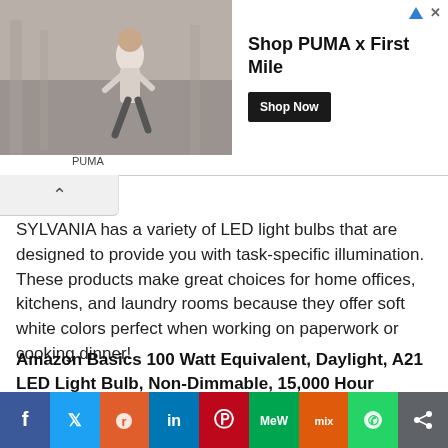[Figure (other): PUMA advertisement banner: runner in white outfit on a street, headline 'Shop PUMA x First Mile', 'Shop Now' button, PUMA label, triangular ad icon and X close icon]
SYLVANIA has a variety of LED light bulbs that are designed to provide you with task-specific illumination. These products make great choices for home offices, kitchens, and laundry rooms because they offer soft white colors perfect when working on paperwork or cooking dinner!
Amazon Basics 100 Watt Equivalent, Daylight, A21 LED Light Bulb, Non-Dimmable, 15,000 Hour Lifetime
[Figure (infographic): Social media share bar with icons: Facebook (blue), Twitter (light blue), Reddit (orange), LinkedIn (dark blue), Pinterest (red), MeWe (green), Mix (orange), WhatsApp (green), Share (gray)]